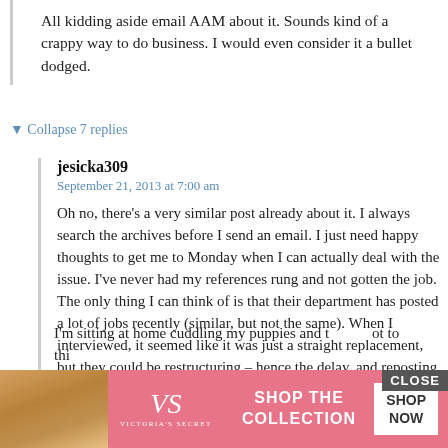All kidding aside email AAM about it. Sounds kind of a crappy way to do business. I would even consider it a bullet dodged.
▼ Collapse 7 replies
jesicka309
September 21, 2013 at 7:00 am
Oh no, there's a very similar post already about it. I always search the archives before I send an email. I just need happy thoughts to get me to Monday when I can actually deal with the issue. I've never had my references rung and not gotten the job. The only thing I can think of is that their department has posted a lot of jobs recently (similar, but not the same). When I interviewed, it seemed like it was just a straight replacement, but they could be restructuring – hence the delay, and reposting.
I'm sitting at home cuddling my puppies and trying not to think
[Figure (advertisement): Victoria's Secret advertisement banner with pink background, woman's photo on left, VS logo in center, 'SHOP THE COLLECTION' text, and 'SHOP NOW' white button. Has a 'CLOSE' button overlay in top right.]